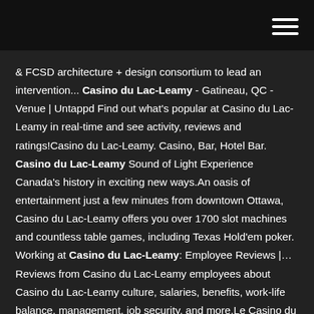[hamburger menu icon]
& FCSD architecture + design consortium to lead an intervention... Casino du Lac-Leamy - Gatineau, QC - Venue | Untappd Find out what's popular at Casino du Lac-Leamy in real-time and see activity, reviews and ratings!Casino du Lac-Leamy. Casino, Bar, Hotel Bar. Casino du Lac-Leamy Sound of Light Experience Canada's history in exciting new ways.An oasis of entertainment just a few minutes from downtown Ottawa, Casino du Lac-Leamy offers you over 1700 slot machines and countless table games, including Texas Hold'em poker. Working at Casino du Lac-Leamy: Employee Reviews |… Reviews from Casino du Lac-Leamy employees about Casino du Lac-Leamy culture, salaries, benefits, work-life balance, management, job security, and more.Le Casino du Lac-Leamy est une excellente entreprise